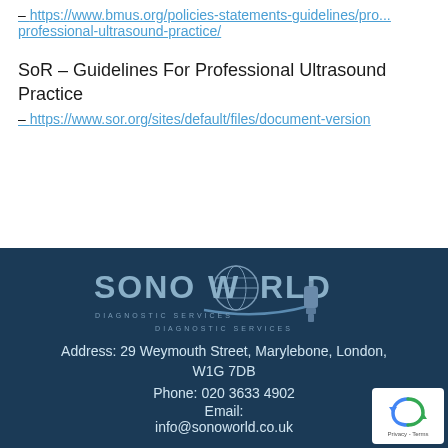– https://www.bmus.org/policies-statements-guidelines/professional-ultrasound-practice/
SoR – Guidelines For Professional Ultrasound Practice
– https://www.sor.org/sites/default/files/document-version/
[Figure (logo): SonoWorld Diagnostic Services logo with globe icon and ultrasound probe graphic on dark blue background]
Address: 29 Weymouth Street, Marylebone, London, W1G 7DB
Phone: 020 3633 4902
Email:
info@sonoworld.co.uk